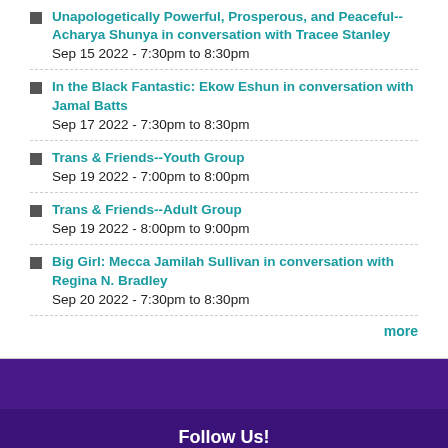Unapologetically Powerful, Prosperous, and Peaceful--Acharya Shunya in conversation with Tracee Stanley
Sep 15 2022 - 7:30pm to 8:30pm
In the Black Fantastic: Ekow Eshun in conversation with Jamal Batts
Sep 17 2022 - 7:30pm to 8:30pm
Trans & Friends--Youth Group
Sep 19 2022 - 7:00pm to 8:00pm
Trans & Friends--Adult Group
Sep 19 2022 - 8:00pm to 9:00pm
Big Girl: Mecca Jamilah Sullivan in conversation with Regina N. Bradley
Sep 20 2022 - 7:30pm to 8:30pm
more
Follow Us!